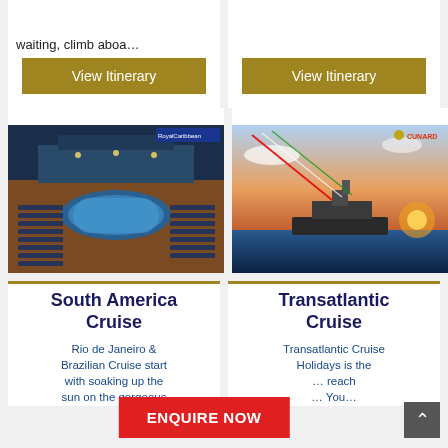waiting, climb aboa…
View Itinerary
View Itinerary
[Figure (photo): Royal Caribbean cruise ship deck with pool and lounge chairs, aerial view at night/dusk, with Royal Caribbean logo in top right]
[Figure (photo): Cunard cruise ship on ocean with colorful jet trails in sky, sunset scene, with Cunard logo in top right]
South America Cruise
Rio de Janeiro & Brazilian Cruise start with soaking up the sun on the gorgeous
Transatlantic Cruise
Transatlantic Cruise Holidays is the … reach … You…
ENQUIRE NOW